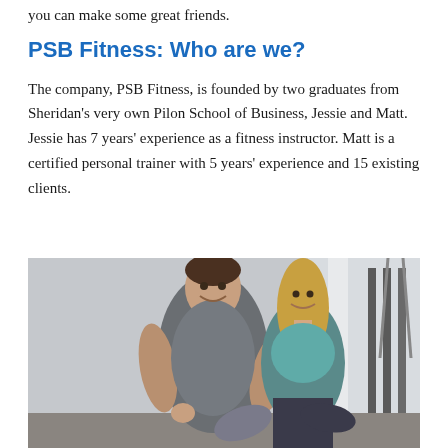you can make some great friends.
PSB Fitness: Who are we?
The company, PSB Fitness, is founded by two graduates from Sheridan’s very own Pilon School of Business, Jessie and Matt. Jessie has 7 years’ experience as a fitness instructor. Matt is a certified personal trainer with 5 years’ experience and 15 existing clients.
[Figure (photo): A man and woman in athletic wear sitting together in a gym, smiling at the camera. The man is muscular wearing a grey tank top, the woman is wearing a teal sports bra and dark leggings.]